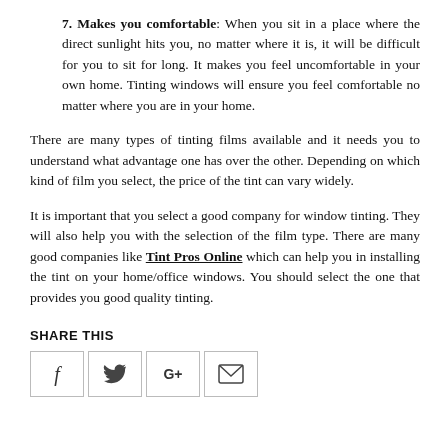7. Makes you comfortable: When you sit in a place where the direct sunlight hits you, no matter where it is, it will be difficult for you to sit for long. It makes you feel uncomfortable in your own home. Tinting windows will ensure you feel comfortable no matter where you are in your home.
There are many types of tinting films available and it needs you to understand what advantage one has over the other. Depending on which kind of film you select, the price of the tint can vary widely.
It is important that you select a good company for window tinting. They will also help you with the selection of the film type. There are many good companies like Tint Pros Online which can help you in installing the tint on your home/office windows. You should select the one that provides you good quality tinting.
SHARE THIS
[Figure (other): Four social media sharing buttons: Facebook (f), Twitter (bird), Google+ (G+), and Email (envelope icon), each in a bordered square box.]